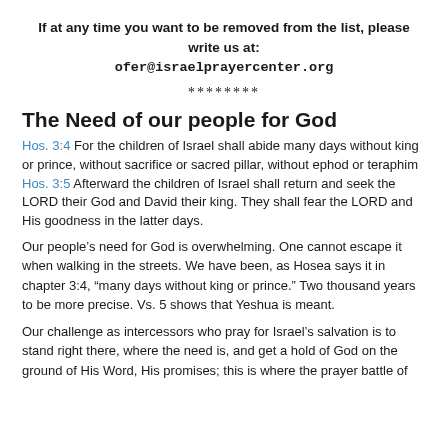If at any time you want to be removed from the list, please write us at:
ofer@israelprayercenter.org
********
The Need of our people for God
Hos. 3:4 For the children of Israel shall abide many days without king or prince, without sacrifice or sacred pillar, without ephod or teraphim Hos. 3:5 Afterward the children of Israel shall return and seek the LORD their God and David their king. They shall fear the LORD and His goodness in the latter days.
Our people’s need for God is overwhelming. One cannot escape it when walking in the streets. We have been, as Hosea says it in chapter 3:4, “many days without king or prince.” Two thousand years to be more precise. Vs. 5 shows that Yeshua is meant.
Our challenge as intercessors who pray for Israel’s salvation is to stand right there, where the need is, and get a hold of God on the ground of His Word, His promises; this is where the prayer battle of